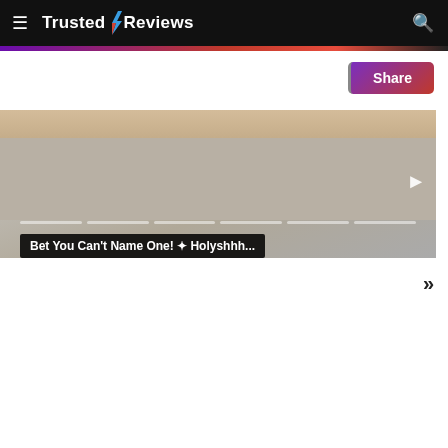Trusted Reviews
[Figure (screenshot): Video thumbnail showing a room scene with a caption overlay reading: Bet You Can't Name One! ✦ Holyshhh... There is a progress bar at the bottom of the video and a play button on the right.]
Share
»